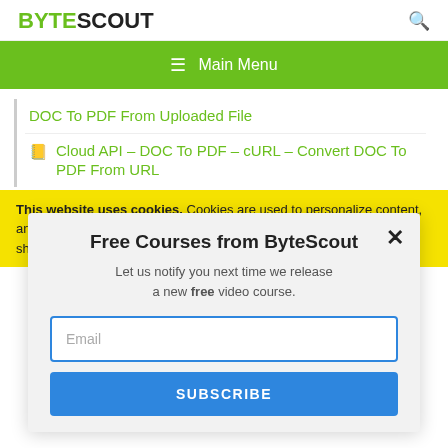BYTESCOUT
DOC To PDF From Uploaded File
Cloud API – DOC To PDF – cURL – Convert DOC To PDF From URL
This website uses cookies. Cookies are used to personalize content, analyze traffic, provide social media features, display ads. We also share
Free Courses from ByteScout
Let us notify you next time we release a new free video course.
Email
SUBSCRIBE